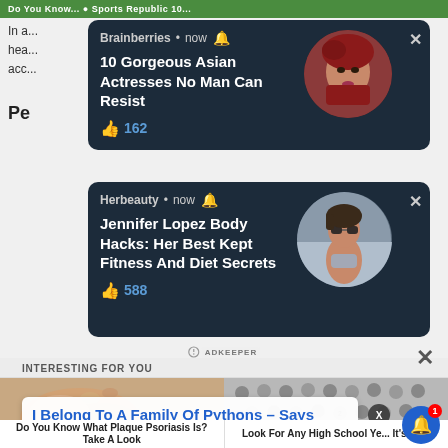[Figure (screenshot): Web page screenshot showing ad overlays and content recommendations. Top green banner, two dark notification-style ad cards (Brainberries and Herbeauty), and an 'Interesting For You' content recommendation section at bottom.]
Brainberries • now 🔔
10 Gorgeous Asian Actresses No Man Can Resist
162
Herbeauty • now 🔔
Jennifer Lopez Body Hacks: Her Best Kept Fitness And Diet Secrets
588
INTERESTING FOR YOU
I Belong To A Family Of Pythons – Says Popular
2 hours ago
Do You Know What Plaque Psoriasis Is? Take A Look
Look For Any High School Yearbook, It's Free